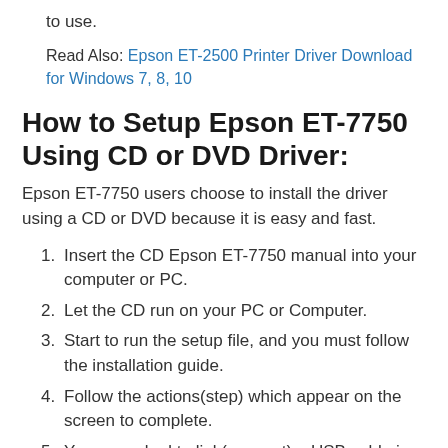to use.
Read Also: Epson ET-2500 Printer Driver Download for Windows 7, 8, 10
How to Setup Epson ET-7750 Using CD or DVD Driver:
Epson ET-7750 users choose to install the driver using a CD or DVD because it is easy and fast.
Insert the CD Epson ET-7750 manual into your computer or PC.
Let the CD run on your PC or Computer.
Start to run the setup file, and you must follow the installation guide.
Follow the actions(step) which appear on the screen to complete.
You are asked to link(connect) a USB cable in